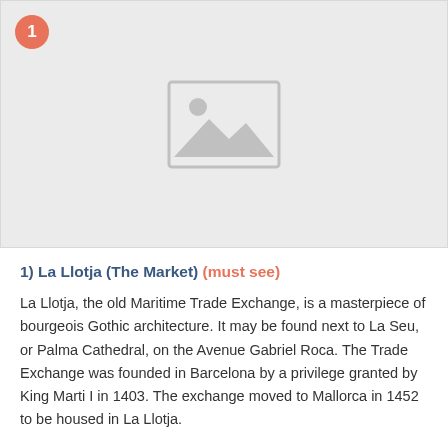[Figure (photo): Placeholder image area with a grey background and a landscape/image placeholder icon in the center, with a red circular badge showing '1' in the top-left corner.]
1) La Llotja (The Market) (must see)
La Llotja, the old Maritime Trade Exchange, is a masterpiece of bourgeois Gothic architecture. It may be found next to La Seu, or Palma Cathedral, on the Avenue Gabriel Roca. The Trade Exchange was founded in Barcelona by a privilege granted by King Marti I in 1403. The exchange moved to Mallorca in 1452 to be housed in La Llotja.